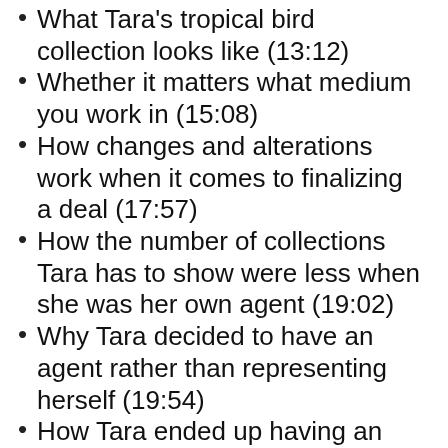What Tara's tropical bird collection looks like (13:12)
Whether it matters what medium you work in (15:08)
How changes and alterations work when it comes to finalizing a deal (17:57)
How the number of collections Tara has to show were less when she was her own agent (19:02)
Why Tara decided to have an agent rather than representing herself (19:54)
How Tara ended up having an agent (22:05)